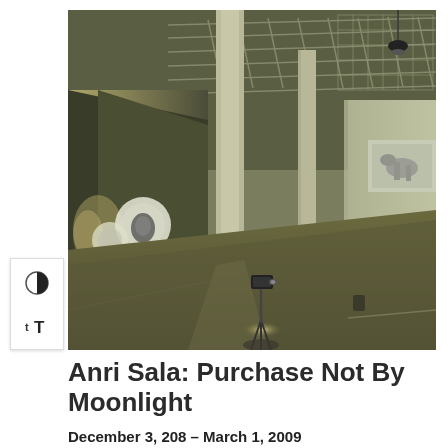[Figure (photo): Interior of a large industrial gallery space with exposed steel roof trusses and columns. Video projections are visible on the walls and there is a projector on a stand in the center foreground. The space has a polished concrete floor and dim, atmospheric lighting.]
Anri Sala: Purchase Not By Moonlight
December 3, 208 – March 1, 2009